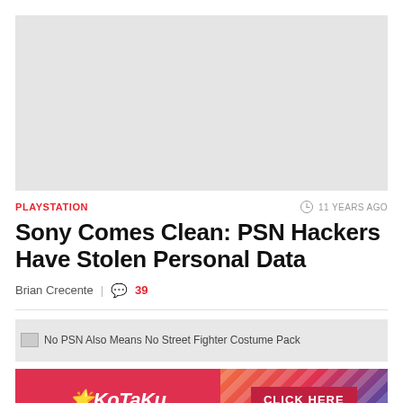[Figure (photo): Light grey placeholder image at top of article]
PLAYSTATION
11 YEARS AGO
Sony Comes Clean: PSN Hackers Have Stolen Personal Data
Brian Crecente | 39
[Figure (photo): No PSN Also Means No Street Fighter Costume Pack - article thumbnail with broken image indicator]
[Figure (other): Kotaku advertisement banner with CLICK HERE button]